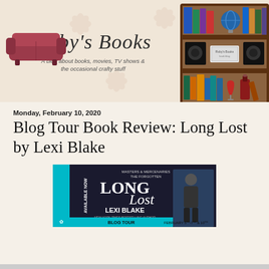[Figure (illustration): Ruby's Books blog header banner with floral background, red couch illustration on left, blog title 'Ruby's Books' in italic serif font, subtitle 'A blog about books, movies, TV shows & the occasional crafty stuff', and a bookshelf illustration on the right]
Monday, February 10, 2020
Blog Tour Book Review: Long Lost by Lexi Blake
[Figure (illustration): Book blog tour promotional banner for 'Long Lost' by Lexi Blake. Shows the book cover with 'Masters & Mercenaries: The Forgotten' series label, 'AVAILABLE NOW' sidebar text, 'LEXI BLAKE New York Times Bestselling Author', and 'BLOG TOUR February 5th-7th & 10th'. Teal/cyan and dark background with a male figure.]